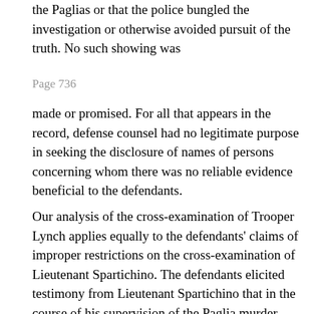the Paglias or that the police bungled the investigation or otherwise avoided pursuit of the truth. No such showing was
Page 736
made or promised. For all that appears in the record, defense counsel had no legitimate purpose in seeking the disclosure of names of persons concerning whom there was no reliable evidence beneficial to the defendants.
Our analysis of the cross-examination of Trooper Lynch applies equally to the defendants' claims of improper restrictions on the cross-examination of Lieutenant Spartichino. The defendants elicited testimony from Lieutenant Spartichino that in the course of his supervision of the Paglia murder investigation, he had